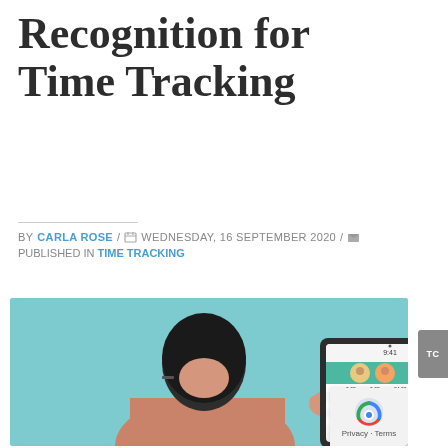Benefits of Facial Recognition for Time Tracking
BY CARLA ROSE / WEDNESDAY, 16 SEPTEMBER 2020 / PUBLISHED IN TIME TRACKING
[Figure (illustration): Illustration of a person from behind holding a tablet/iPad showing a facial recognition time tracking application interface with employee avatars and time data displayed on screen.]